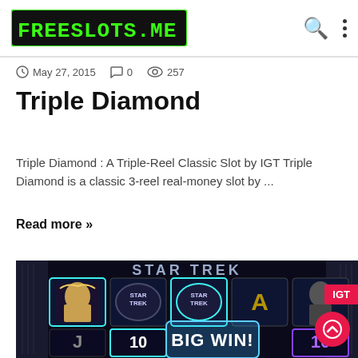freeslots.me
May 27, 2015  0  257
Triple Diamond
Triple Diamond : A Triple-Reel Classic Slot by IGT Triple Diamond is a classic 3-reel real-money slot by ...
Read more »
[Figure (screenshot): Star Trek slot game screenshot showing BIG WIN! with 143.00, various slot symbols including Star Trek logos, character A, J, 10 symbols, and an IGT badge in the top right corner.]